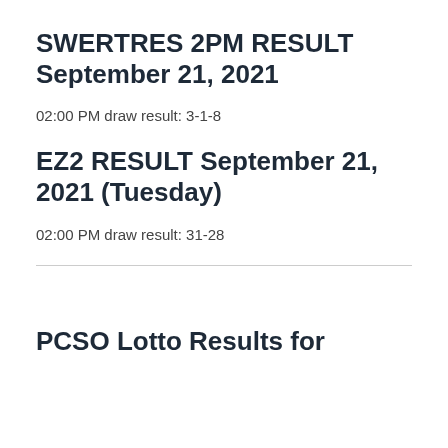SWERTRES 2PM RESULT September 21, 2021
02:00 PM draw result: 3-1-8
EZ2 RESULT September 21, 2021 (Tuesday)
02:00 PM draw result: 31-28
PCSO Lotto Results for